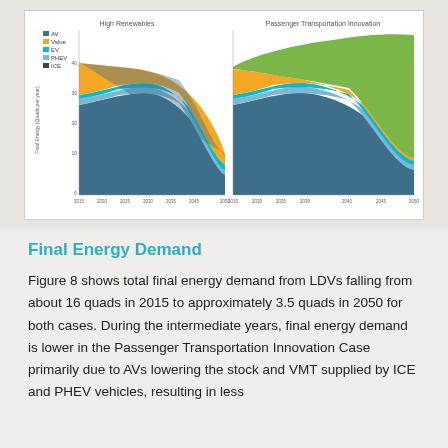[Figure (area-chart): Two side-by-side stacked area charts showing energy demand by vehicle type (AV, Value, EV, PHEV, ICE) from 2015 to 2050. Left chart: High Renewables scenario. Right chart: Passenger Transportation Innovation scenario. Both show total energy declining from about 16 quads in 2015 to ~3.5 quads in 2050.]
Final Energy Demand
Figure 8 shows total final energy demand from LDVs falling from about 16 quads in 2015 to approximately 3.5 quads in 2050 for both cases. During the intermediate years, final energy demand is lower in the Passenger Transportation Innovation Case primarily due to AVs lowering the stock and VMT supplied by ICE and PHEV vehicles, resulting in less